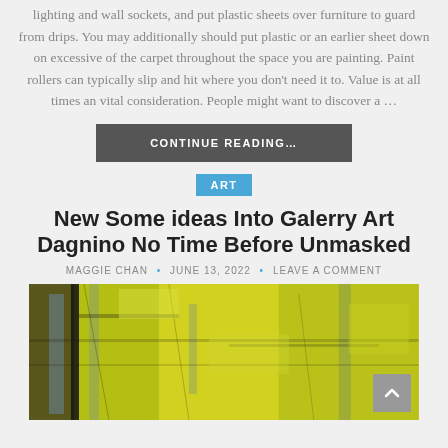lighting and wall sockets, and put plastic sheets over furniture to guard from drips. You may additionally should put plastic or an earlier sheet down on excessive of the carpet throughout the space you are painting. Paint rollers can typically slip and hit where you don't need it to. Value is at all times an vital consideration. People might want to discover a …
CONTINUE READING…
ART
New Some ideas Into Galerry Art Dagnino No Time Before Unmasked
MAGGIE CHAN • JUNE 13, 2022 • LEAVE A COMMENT
[Figure (photo): Abstract painting with yellow, green, and blue brushstrokes creating a textured surface]